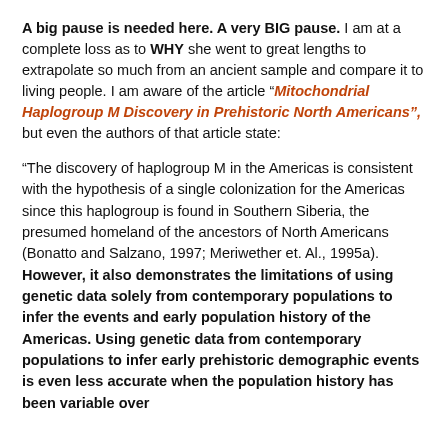A big pause is needed here. A very BIG pause. I am at a complete loss as to WHY she went to great lengths to extrapolate so much from an ancient sample and compare it to living people. I am aware of the article "Mitochondrial Haplogroup M Discovery in Prehistoric North Americans", but even the authors of that article state:
“The discovery of haplogroup M in the Americas is consistent with the hypothesis of a single colonization for the Americas since this haplogroup is found in Southern Siberia, the presumed homeland of the ancestors of North Americans (Bonatto and Salzano, 1997; Meriwether et. Al., 1995a). However, it also demonstrates the limitations of using genetic data solely from contemporary populations to infer the events and early population history of the Americas. Using genetic data from contemporary populations to infer early prehistoric demographic events is even less accurate when the population history has been variable over